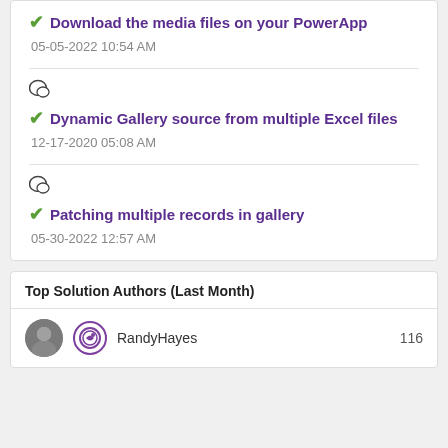Download the media files on your PowerApp
05-05-2022 10:54 AM
Dynamic Gallery source from multiple Excel files
12-17-2020 05:08 AM
Patching multiple records in gallery
05-30-2022 12:57 AM
Top Solution Authors (Last Month)
RandyHayes  116